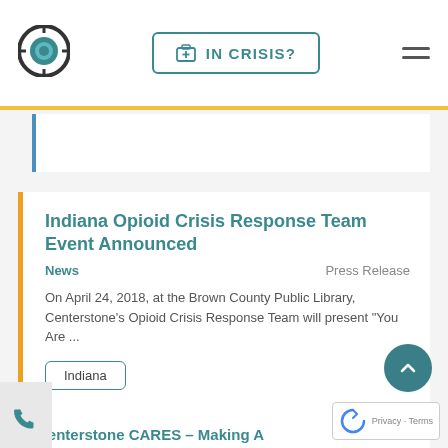[Figure (logo): Centerstone circular logo with teal center and dark outer ring]
[Figure (screenshot): IN CRISIS? button with medical briefcase icon, teal border]
[Figure (screenshot): Hamburger menu icon (three horizontal lines)]
Indiana Opioid Crisis Response Team Event Announced
News
Press Release
On April 24, 2018, at the Brown County Public Library, Centerstone's Opioid Crisis Response Team will present "You Are ...
Indiana